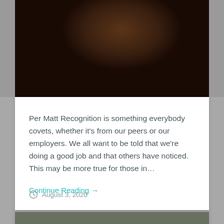[Figure (photo): A man in dark clothing, appears to be wearing a dark jacket with a badge or label, shown from the torso up against a dark warm-toned background]
Per Matt Recognition is something everybody covets, whether it’s from our peers or our employers. We all want to be told that we’re doing a good job and that others have noticed. This may be more true for those in…
Continue Reading →
August 3, 2020
[Figure (photo): Partial view of another card/image at the bottom of the page, appears to be a dark outdoor/forest scene]